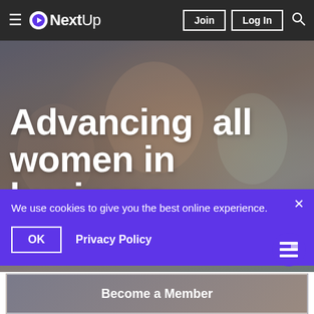≡ ONextUp  Join  Log In  🔍
[Figure (photo): Background photo of diverse women in a business setting, smiling and collaborating]
Advancing all women in business
We use cookies to give you the best online experience.
OK   Privacy Policy
Become a Member